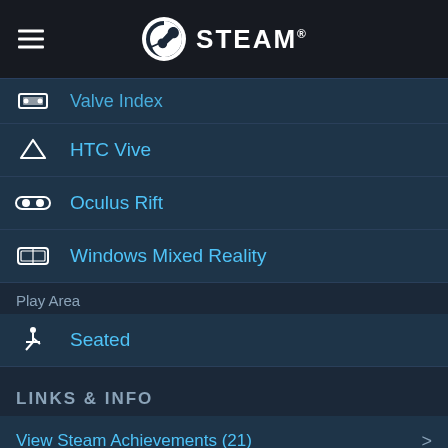Steam
Valve Index
HTC Vive
Oculus Rift
Windows Mixed Reality
Play Area
Seated
LINKS & INFO
View Steam Achievements (21)
View Community Hub
Visit the website
View update history